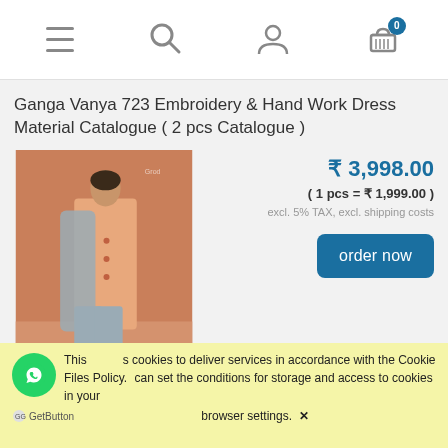Navigation bar with hamburger menu, search, user, and cart (0 items)
Ganga Vanya 723 Embroidery & Hand Work Dress Material Catalogue ( 2 pcs Catalogue )
[Figure (photo): Product photo of a woman wearing peach/salmon salwar kameez with grey dupatta and palazzo pants, standing in front of a terracotta/rust colored wall]
₹ 3,998.00
( 1 pcs = ₹ 1,999.00 )
excl. 5% TAX, excl. shipping costs
order now
This uses cookies to deliver services in accordance with the Cookie Files Policy. You can set the conditions for storage and access to cookies in your browser settings. ✕